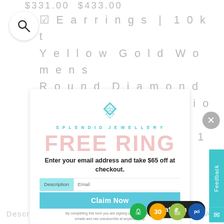$331.00 $433.00
Earrings | 10kt Yellow Gold Womens Round Diamond Solitaire Illusion set Stud Earrings 1/10 Cttw | S... $285.00
[Figure (screenshot): Search magnifying glass icon in white circle]
[Figure (logo): Splendid Jewellery logo with diamond shape and teal text SPLENDID JEWELLERY]
FREE RING
Enter your email address and take $65 off at checkout.
Email
Description
Claim Now
Reviews
By completing this form you are signing up to receive our emails and can unsubscribe at anytime. Ship
Shipping/Warranty
FAQ
Chat with us
[Figure (photo): Rose gold and dark metal rings stacked]
[Figure (infographic): Four circular badge icons: green padlock, gold 30, Shopify bag, PCI blue circle]
[Figure (screenshot): Feedback tab button in teal on right edge with envelope icon]